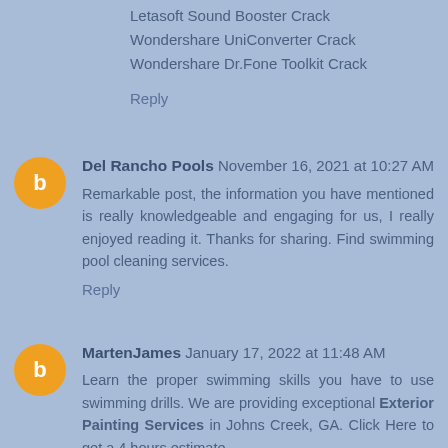Letasoft Sound Booster Crack
Wondershare UniConverter Crack
Wondershare Dr.Fone Toolkit Crack
Reply
Del Rancho Pools November 16, 2021 at 10:27 AM
Remarkable post, the information you have mentioned is really knowledgeable and engaging for us, I really enjoyed reading it. Thanks for sharing. Find swimming pool cleaning services.
Reply
MartenJames January 17, 2022 at 11:48 AM
Learn the proper swimming skills you have to use swimming drills. We are providing exceptional Exterior Painting Services in Johns Creek, GA. Click Here to get a 4 hours estimate.
Reply